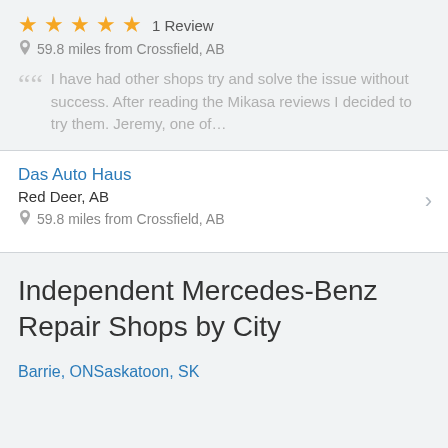★★★★★ 1 Review
📍 59.8 miles from Crossfield, AB
I have had other shops try and solve the issue without success. After reading the Mikasa reviews I decided to try them. Jeremy, one of…
Das Auto Haus
Red Deer, AB
59.8 miles from Crossfield, AB
Independent Mercedes-Benz Repair Shops by City
Barrie, ON
Saskatoon, SK